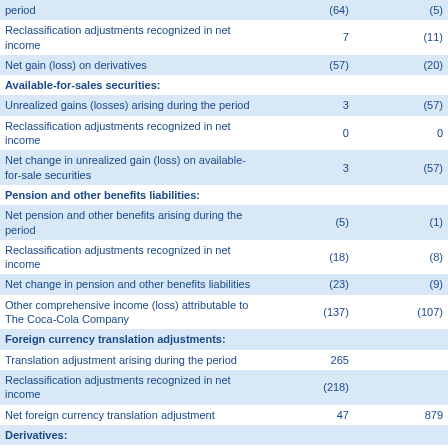|  |  |  |
| --- | --- | --- |
| period | (64) | (5) |
| Reclassification adjustments recognized in net income | 7 | (11) |
| Net gain (loss) on derivatives | (57) | (20) |
| Available-for-sales securities: |  |  |
| Unrealized gains (losses) arising during the period | 3 | (57) |
| Reclassification adjustments recognized in net income | 0 | 0 |
| Net change in unrealized gain (loss) on available-for-sale securities | 3 | (57) |
| Pension and other benefits liabilities: |  |  |
| Net pension and other benefits arising during the period | (5) | (1) |
| Reclassification adjustments recognized in net income | (18) | (8) |
| Net change in pension and other benefits liabilities | (23) | (9) |
| Other comprehensive income (loss) attributable to The Coca-Cola Company | (137) | (107) |
| Foreign currency translation adjustments: |  |  |
| Translation adjustment arising during the period | 265 |  |
| Reclassification adjustments recognized in net income | (218) |  |
| Net foreign currency translation adjustment | 47 | 879 |
| Derivatives: |  |  |
| Unrealized gains (losses) arising during the period | 98 | 13 |
| Reclassification adjustments recognized in net income | (11) | 18 |